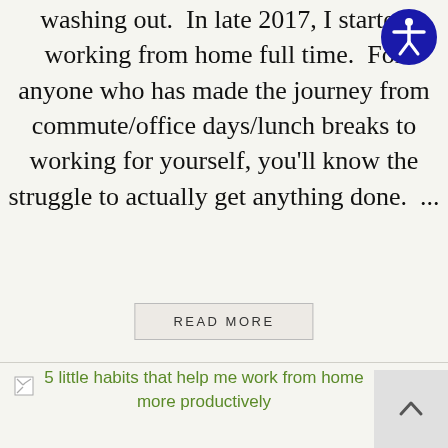washing out.  In late 2017, I started working from home full time.  For anyone who has made the journey from commute/office days/lunch breaks to working for yourself, you'll know the struggle to actually get anything done.  ...
READ MORE
[Figure (illustration): Broken image placeholder icon (small rectangle with broken image symbol)]
5 little habits that help me work from home more productively
[Figure (logo): Accessibility icon — blue circle with white human figure (wheelchair accessibility symbol)]
[Figure (other): Scroll-to-top button — grey square with upward chevron arrow]